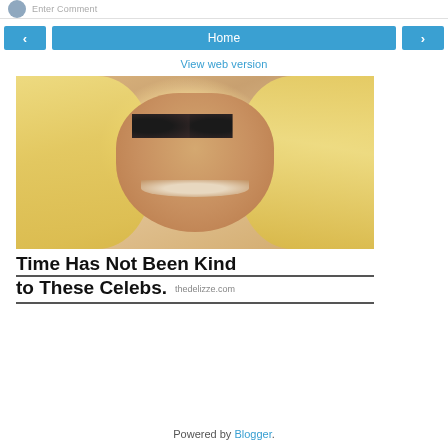Enter Comment
< Home >
View web version
[Figure (photo): Close-up photo of a woman with long blonde hair and heavy dark eye makeup, smiling at camera]
Time Has Not Been Kind to These Celebs.
thedelizze.com
Powered by Blogger.